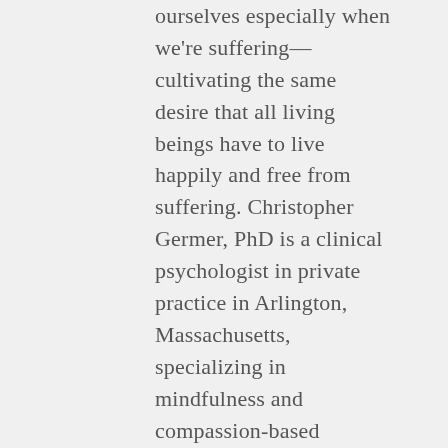ourselves especially when we're suffering—cultivating the same desire that all living beings have to live happily and free from suffering. Christopher Germer, PhD is a clinical psychologist in private practice in Arlington, Massachusetts, specializing in mindfulness and compassion-based psychotherapy. He is a founding member of the Institute for Meditation and Psychotherapy, a clinical instructor in psychology at Harvard Medical School, author of The Mindful Path to Self-Compassion, and co-editor of Mindfulness and Psychotherapy and